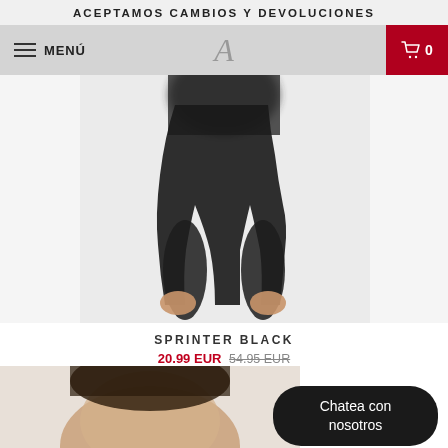ACEPTAMOS CAMBIOS Y DEVOLUCIONES
[Figure (screenshot): Navigation bar with hamburger menu, MENÚ text, stylized A logo in center, and red shopping cart button with 0 items on the right]
[Figure (photo): Blurred product photo of black leggings/pants (Sprinter Black) worn by a model, shown from waist down against a white background]
SPRINTER BLACK
20.99 EUR 54.95 EUR
[Figure (photo): Partial blurred photo of a model's head/hair, partially obscured by chat button]
Chatea con nosotros